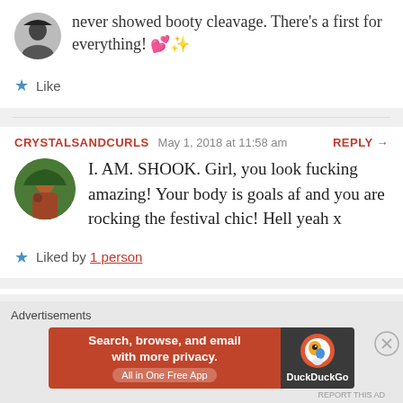never showed booty cleavage. There's a first for everything! 💕✨
★ Like
CRYSTALSANDCURLS  May 1, 2018 at 11:58 am  REPLY →
I. AM. SHOOK. Girl, you look fucking amazing! Your body is goals af and you are rocking the festival chic! Hell yeah x
★ Liked by 1 person
Advertisements
[Figure (screenshot): DuckDuckGo advertisement banner: orange left side reading 'Search, browse, and email with more privacy. All in One Free App', dark right side with DuckDuckGo duck logo and brand name.]